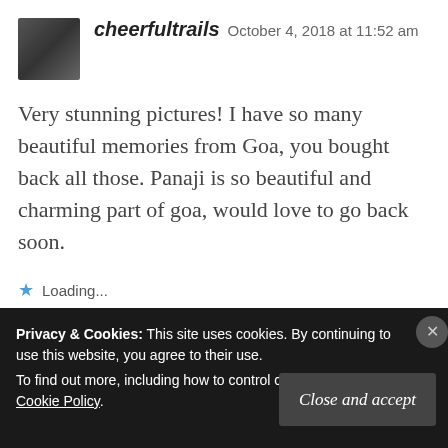[Figure (photo): Avatar photo of user cheerfultrails, a small square thumbnail showing a person]
cheerfultrails   October 4, 2018 at 11:52 am
Very stunning pictures! I have so many beautiful memories from Goa, you bought back all those. Panaji is so beautiful and charming part of goa, would love to go back soon.
★ Loading...
Reply
Privacy & Cookies: This site uses cookies. By continuing to use this website, you agree to their use.
To find out more, including how to control cookies, see here: Cookie Policy
Close and accept